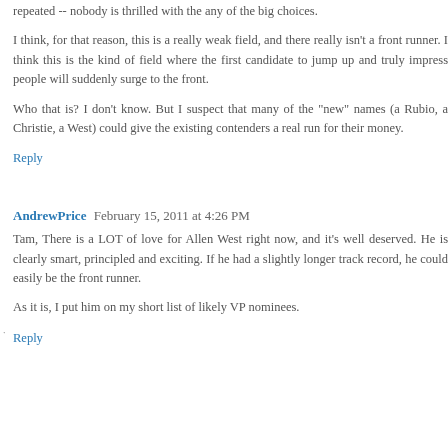repeated -- nobody is thrilled with the any of the big choices.
I think, for that reason, this is a really weak field, and there really isn't a front runner. I think this is the kind of field where the first candidate to jump up and truly impress people will suddenly surge to the front.
Who that is? I don't know. But I suspect that many of the "new" names (a Rubio, a Christie, a West) could give the existing contenders a real run for their money.
Reply
AndrewPrice  February 15, 2011 at 4:26 PM
Tam, There is a LOT of love for Allen West right now, and it's well deserved. He is clearly smart, principled and exciting. If he had a slightly longer track record, he could easily be the front runner.
As it is, I put him on my short list of likely VP nominees.
Reply